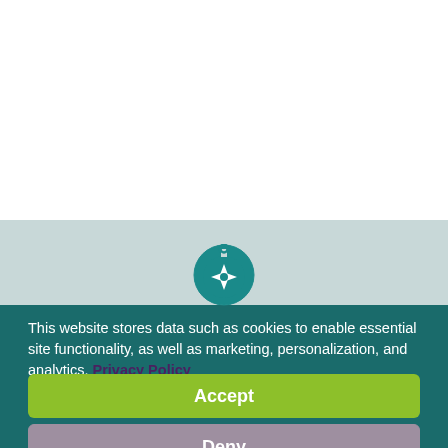[Figure (logo): Compass/navigation icon in teal circle on light gray background]
This website stores data such as cookies to enable essential site functionality, as well as marketing, personalization, and analytics. Privacy Policy
Accept
Deny